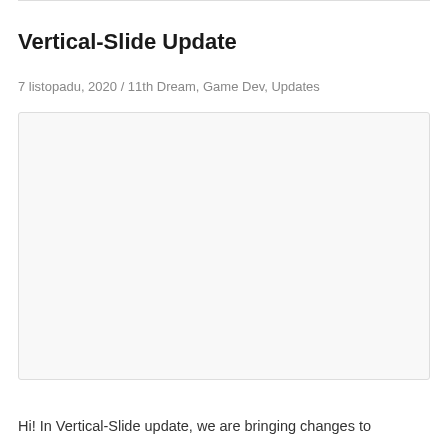Vertical-Slide Update
7 listopadu, 2020 / 11th Dream, Game Dev, Updates
[Figure (other): Large white/light-grey blank content area with border, presumably an embedded video or image placeholder]
Hi! In Vertical-Slide update, we are bringing changes to